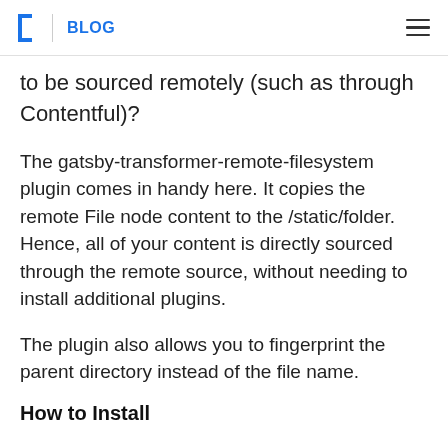[] | BLOG
to be sourced remotely (such as through Contentful)?
The gatsby-transformer-remote-filesystem plugin comes in handy here. It copies the remote File node content to the /static/folder. Hence, all of your content is directly sourced through the remote source, without needing to install additional plugins.
The plugin also allows you to fingerprint the parent directory instead of the file name.
How to Install